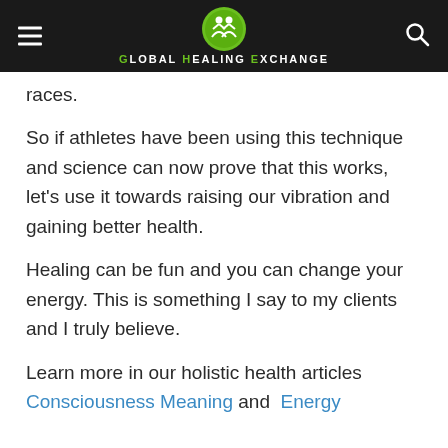Global Healing Exchange
races.
So if athletes have been using this technique and science can now prove that this works, let's use it towards raising our vibration and gaining better health.
Healing can be fun and you can change your energy. This is something I say to my clients and I truly believe.
Learn more in our holistic health articles Consciousness Meaning and  Energy